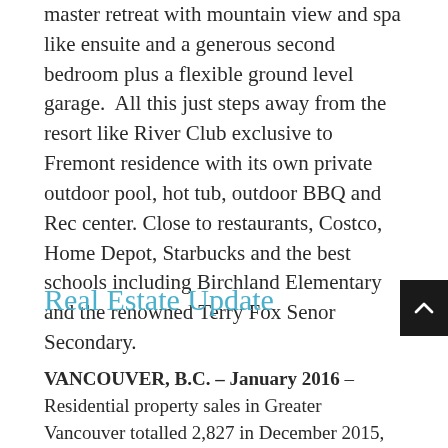master retreat with mountain view and spa like ensuite and a generous second bedroom plus a flexible ground level garage.  All this just steps away from the resort like River Club exclusive to Fremont residence with its own private outdoor pool, hot tub, outdoor BBQ and Rec center. Close to restaurants, Costco, Home Depot, Starbucks and the best schools including Birchland Elementary and the renowned Terry Fox Senor Secondary.
Real Estate Update
VANCOUVER, B.C. – January 2016 – Residential property sales in Greater Vancouver totalled 2,827 in December 2015, an increase of